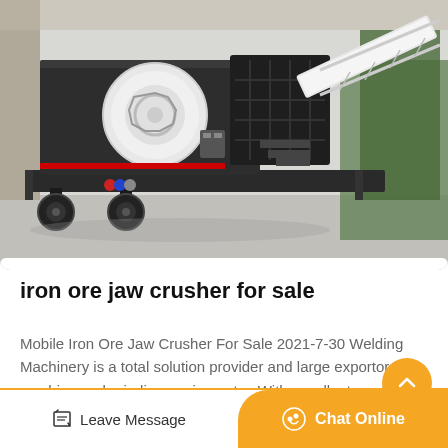[Figure (photo): Mobile iron ore jaw crusher machine on a trailer/truck chassis, shown in a factory yard. The machine is primarily black/dark grey with white components including a large circular flywheel and a conveyor belt assembly extending to the right. Trees visible in background.]
iron ore jaw crusher for sale
Mobile Iron Ore Jaw Crusher For Sale 2021-7-30 Welding Machinery is a total solution provider and large exportor for crushing and grinding equipments . With excellent product…